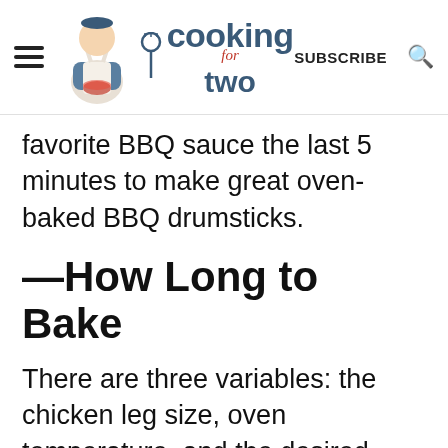cooking for two — SUBSCRIBE
favorite BBQ sauce the last 5 minutes to make great oven-baked BBQ drumsticks.
🍗How Long to Bake
There are three variables: the chicken leg size, oven temperature, and the desired internal temperature. I'm aiming for 185° (see next section), so at 425° for about 35 minutes.